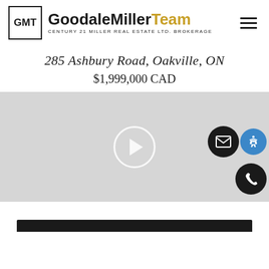[Figure (logo): GoodaleMillerTeam logo with GMT box and Century 21 Miller Real Estate Ltd. Brokerage text]
285 Ashbury Road, Oakville, ON
$1,999,000 CAD
[Figure (screenshot): Video thumbnail placeholder with play button, email button, accessibility button, and phone button overlaid]
[Figure (other): Black bar at bottom of page]